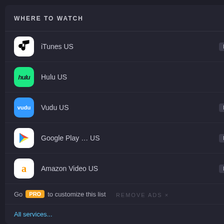WHERE TO WATCH   ▶ Trailer
iTunes US  RENT  BUY
Hulu US  PLAY
Vudu US  RENT  BUY
Google Play... US  RENT  BUY
Amazon Video US  RENT  BUY
Go PRO to customize this list
All services...   ▶JustWatch
[Figure (photo): Two rows of movie poster thumbnails on a dark background - top row shows horror/action movie posters including one with a punk character, one labeled 'CRIBIAN FILM', and one action poster. Bottom row shows posters including '#ALIVE', 'ptured', and another partially visible poster.]
REMOVE ADS ×